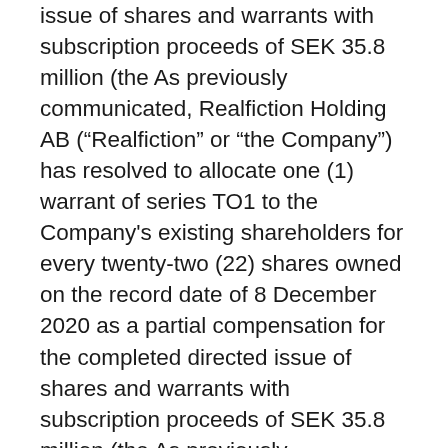issue of shares and warrants with subscription proceeds of SEK 35.8 million (the As previously communicated, Realfiction Holding AB (“Realfiction” or “the Company”) has resolved to allocate one (1) warrant of series TO1 to the Company's existing shareholders for every twenty-two (22) shares owned on the record date of 8 December 2020 as a partial compensation for the completed directed issue of shares and warrants with subscription proceeds of SEK 35.8 million (the As previously communicated, Realfiction Holding AB (“Realfiction” or “the Company”) has resolved to allocate one (1) warrant of series TO1 to the Company's existing shareholders for every twenty-two (22) shares owned on the record date of 8 December 2020 as a partial compensation for the completed directed issue of shares and warrants with subscription